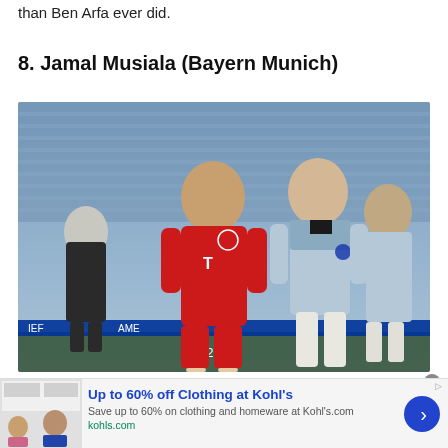than Ben Arfa ever did.
8. Jamal Musiala (Bayern Munich)
[Figure (photo): Jamal Musiala in Bayern Munich red kit running with a Lazio player in light blue kit close behind, during a Champions League match in a stadium setting.]
Up to 60% off Clothing at Kohl's
Save up to 60% on clothing and homeware at Kohl's.com
kohls.com